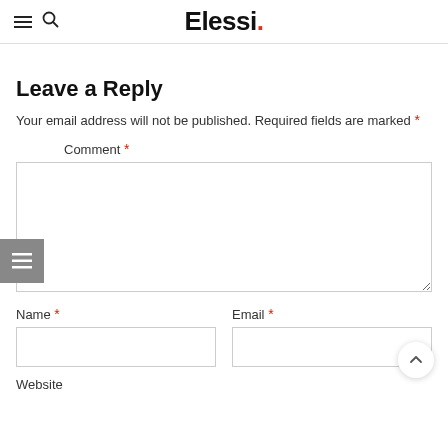Elessi.
Leave a Reply
Your email address will not be published. Required fields are marked *
Comment *
Name *
Email *
Website